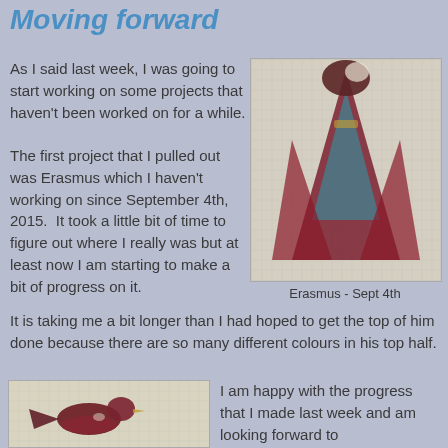Moving forward
As I said last week, I was going to start working on some projects that haven't been worked on for a while.
[Figure (photo): Cross-stitch needlework of Erasmus figure showing upper body with dark red cloak and blue/teal clothing, partially completed on canvas grid]
Erasmus - Sept 4th
The first project that I pulled out was Erasmus which I haven't working on since September 4th, 2015.  It took a little bit of time to figure out where I really was but at least now I am starting to make a bit of progress on it. It is taking me a bit longer than I had hoped to get the top of him done because there are so many different colours in his top half.
[Figure (photo): Cross-stitch needlework of a bird (dark red/maroon) on light canvas background, partially completed]
I am happy with the progress that I made last week and am looking forward to